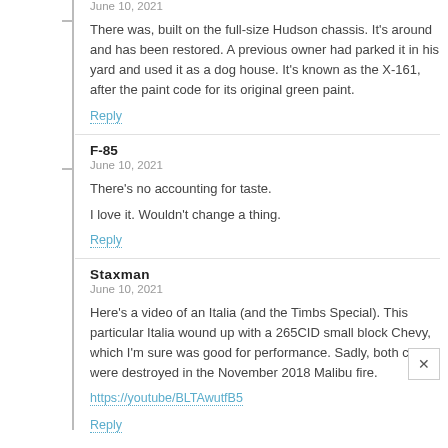June 10, 2021
There was, built on the full-size Hudson chassis. It's around and has been restored. A previous owner had parked it in his yard and used it as a dog house. It's known as the X-161, after the paint code for its original green paint.
Reply
F-85
June 10, 2021
There's no accounting for taste.
I love it. Wouldn't change a thing.
Reply
Staxman
June 10, 2021
Here's a video of an Italia (and the Timbs Special). This particular Italia wound up with a 265CID small block Chevy, which I'm sure was good for performance. Sadly, both cars were destroyed in the November 2018 Malibu fire.
https://youtube/BLTAwutfB5
Reply